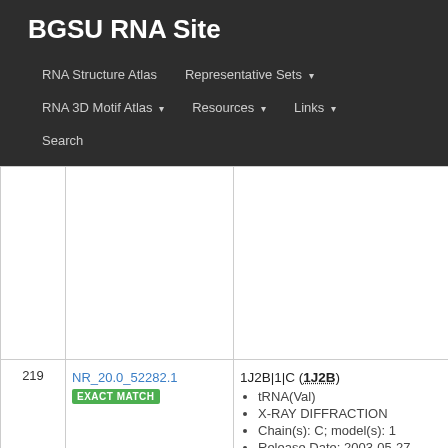BGSU RNA Site
RNA Structure Atlas | Representative Sets ▾ | RNA 3D Motif Atlas ▾ | Resources ▾ | Links ▾ | Search
| # | ID | Info |
| --- | --- | --- |
|  |  |  |
| 219 | NR_20.0_52282.1 [EXACT MATCH] | 1J2B|1|C (1J2B) • tRNA(Val) • X-RAY DIFFRACTION • Chain(s): C; model(s): 1 • Release Date: 2003-05-27 |